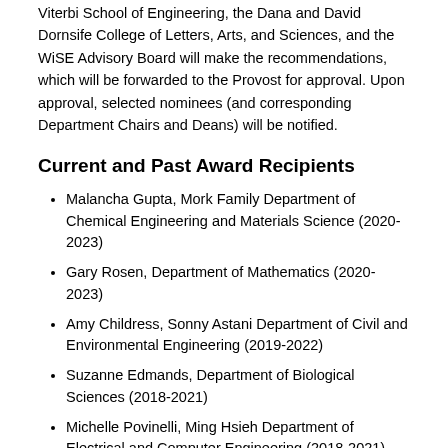Viterbi School of Engineering, the Dana and David Dornsife College of Letters, Arts, and Sciences, and the WiSE Advisory Board will make the recommendations, which will be forwarded to the Provost for approval. Upon approval, selected nominees (and corresponding Department Chairs and Deans) will be notified.
Current and Past Award Recipients
Malancha Gupta, Mork Family Department of Chemical Engineering and Materials Science (2020-2023)
Gary Rosen, Department of Mathematics (2020-2023)
Amy Childress, Sonny Astani Department of Civil and Environmental Engineering (2019-2022)
Suzanne Edmands, Department of Biological Sciences (2018-2021)
Michelle Povinelli, Ming Hsieh Department of Electrical and Computer Engineering (2018-2021)
Judith Hirsch, Department of Biological Sciences (2017-2020)
Susan Montgomery, Department of Mathematics (2017-2020)
Lorraine Turcotte, Department of Biological Sciences (2017-2020)
Susan Forsburg, Department of Biological Sciences (2016-2019)